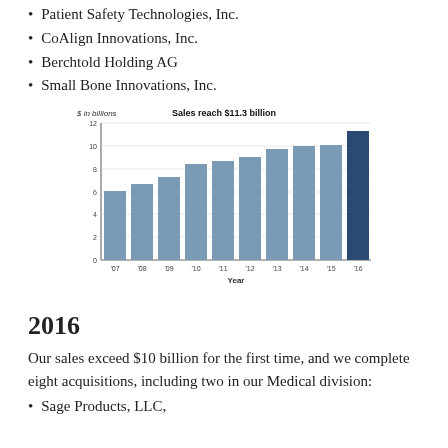Patient Safety Technologies, Inc.
CoAlign Innovations, Inc.
Berchtold Holding AG
Small Bone Innovations, Inc.
[Figure (bar-chart): Sales reach $11.3 billion]
2016
Our sales exceed $10 billion for the first time, and we complete eight acquisitions, including two in our Medical division:
Sage Products, LLC,